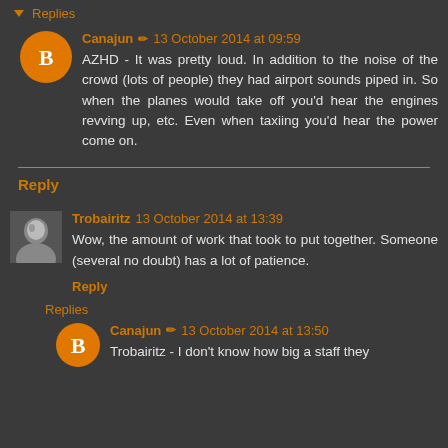▼ Replies
Canajun ✏ 13 October 2014 at 09:59
AZHD - It was pretty loud. In addition to the noise of the crowd (lots of people) they had airport sounds piped in. So when the planes would take off you'd hear the engines revving up, etc. Even when taxiing you'd hear the power come on.
Reply
Trobairitz 13 October 2014 at 13:39
Wow, the amount of work that took to put together. Someone (several no doubt) has a lot of patience.
Reply
▼ Replies
Canajun ✏ 13 October 2014 at 13:50
Trobairitz - I don't know how big a staff they